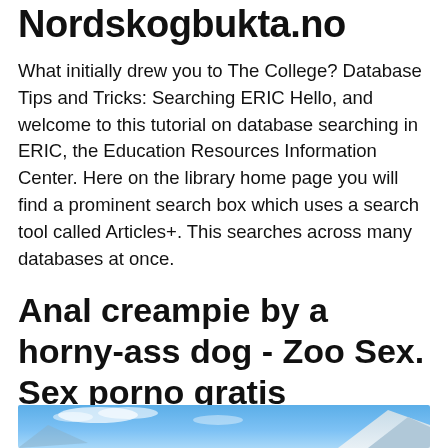Nordskogbukta.no
What initially drew you to The College? Database Tips and Tricks: Searching ERIC Hello, and welcome to this tutorial on database searching in ERIC, the Education Resources Information Center. Here on the library home page you will find a prominent search box which uses a search tool called Articles+. This searches across many databases at once.
Anal creampie by a horny-ass dog - Zoo Sex. Sex porno gratis
[Figure (photo): Landscape photo showing a blue sky with mountains and snow]